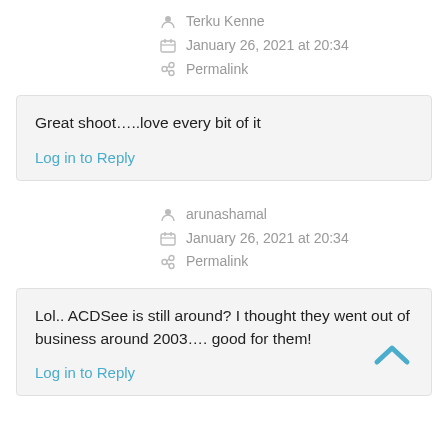Terku Kenne
January 26, 2021 at 20:34
Permalink
Great shoot…..love every bit of it
Log in to Reply
arunashamal
January 26, 2021 at 20:34
Permalink
Lol.. ACDSee is still around? I thought they went out of business around 2003…. good for them!
Log in to Reply